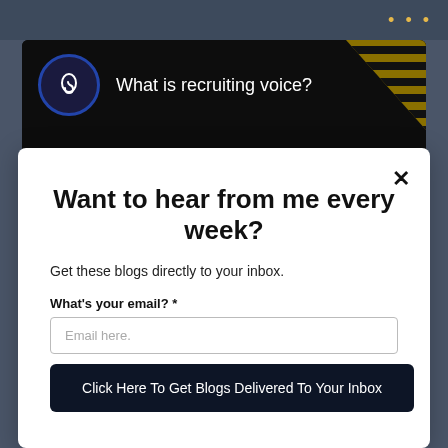[Figure (screenshot): Browser tab/window top bar with orange dots menu indicator]
[Figure (screenshot): Background video thumbnail showing 'What is recruiting voice?' with ear icon badge, vertical three-dot menu, striped gold/black corner decoration, and partially visible large text 'WHAT IS RECRUITING' in white/red]
Want to hear from me every week?
Get these blogs directly to your inbox.
What's your email? *
Email here.
Click Here To Get Blogs Delivered To Your Inbox